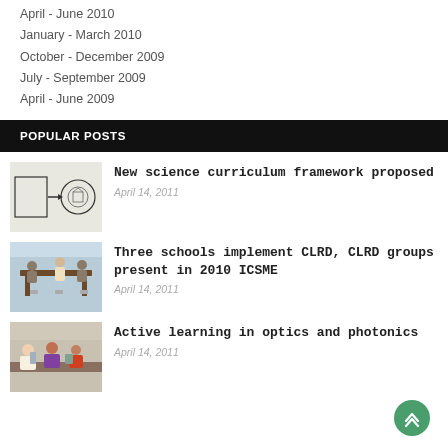April - June 2010
January - March 2010
October - December 2009
July - September 2009
April - June 2009
POPULAR POSTS
[Figure (illustration): Diagram showing circular arrows and a circular stamp/seal illustration]
New science curriculum framework proposed
April 14, 2011
[Figure (photo): Photo of people sitting around a table in a meeting or classroom setting]
Three schools implement CLRD, CLRD groups present in 2010 ICSME
April 14, 2011
[Figure (photo): Photo of students working in a lab or classroom setting]
Active learning in optics and photonics
April 14, 2011